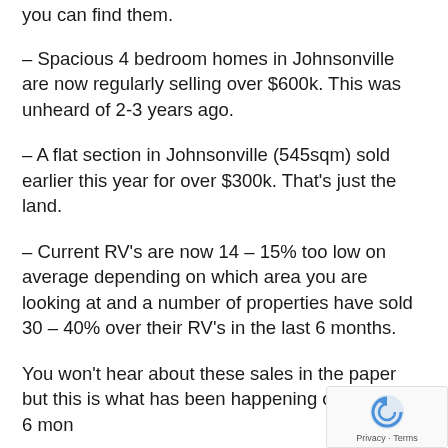you can find them.
– Spacious 4 bedroom homes in Johnsonville are now regularly selling over $600k. This was unheard of 2-3 years ago.
– A flat section in Johnsonville (545sqm) sold earlier this year for over $300k. That's just the land.
– Current RV's are now 14 – 15% too low on average depending on which area you are looking at and a number of properties have sold 30 – 40% over their RV's in the last 6 months.
You won't hear about these sales in the paper but this is what has been happening over the last 6 mon…